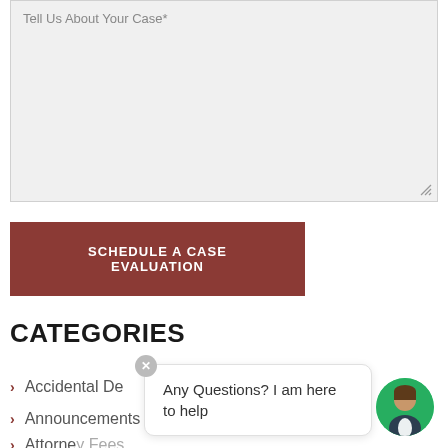Tell Us About Your Case*
SCHEDULE A CASE EVALUATION
CATEGORIES
Accidental Death
Announcements
Attorney Fees
Any Questions? I am here to help